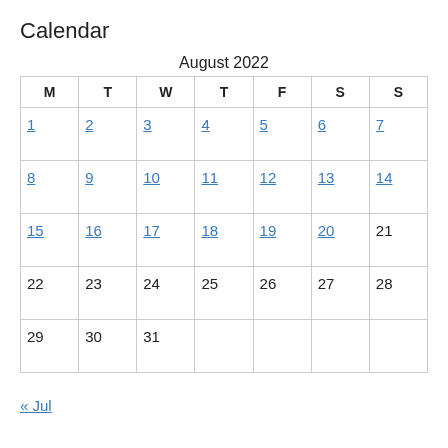Calendar
| M | T | W | T | F | S | S |
| --- | --- | --- | --- | --- | --- | --- |
| 1 | 2 | 3 | 4 | 5 | 6 | 7 |
| 8 | 9 | 10 | 11 | 12 | 13 | 14 |
| 15 | 16 | 17 | 18 | 19 | 20 | 21 |
| 22 | 23 | 24 | 25 | 26 | 27 | 28 |
| 29 | 30 | 31 |  |  |  |  |
« Jul